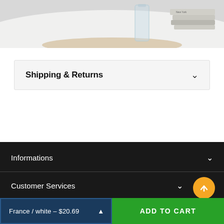[Figure (photo): Top portion of a product photo showing a white table surface with a glass vase and stacked books/magazines in a home decor setting]
Shipping & Returns
Informations
Customer Services
France / white – $20.69
ADD TO CART